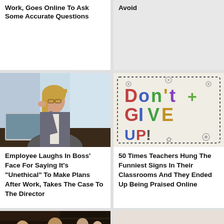Work, Goes Online To Ask Some Accurate Questions
Avoid
[Figure (photo): Woman in gray blazer sitting at desk with laptop, resting her chin on her hand, looking thoughtful]
[Figure (photo): Handwritten sign reading Don't Give Up! with decorative flowers and dotted border]
Employee Laughs In Boss' Face For Saying It's "Unethical" To Make Plans After Work, Takes The Case To The Director
50 Times Teachers Hung The Funniest Signs In Their Classrooms And They Ended Up Being Praised Online
[Figure (photo): Group of people socializing at a dimly lit event or bar, several figures in background]
[Figure (photo): Close-up of hands exchanging a document or card over a white surface]